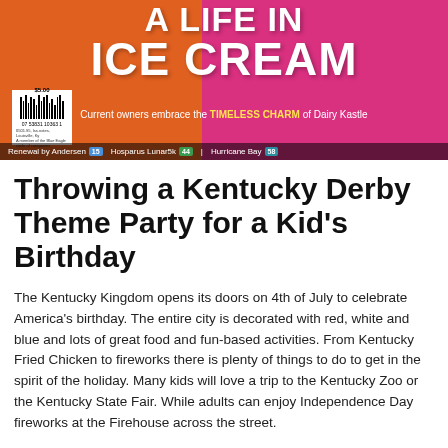[Figure (photo): Magazine cover showing two people wearing orange and pink aprons with text 'A LIFE IN ICE CREAM'. Subtitle reads 'Current owners embrace the TIMELESS CHARM of Dairy Kastle'. Contains barcode in bottom-left corner. Bottom bar shows: Renewal by Andersen, Hosparus Lunar5k, Hurricane Bay.]
Throwing a Kentucky Derby Theme Party for a Kid's Birthday
The Kentucky Kingdom opens its doors on 4th of July to celebrate America's birthday. The entire city is decorated with red, white and blue and lots of great food and fun-based activities. From Kentucky Fried Chicken to fireworks there is plenty of things to do to get in the spirit of the holiday. Many kids will love a trip to the Kentucky Zoo or the Kentucky State Fair. While adults can enjoy Independence Day fireworks at the Firehouse across the street.
For an afternoon of fun you can head over to the Kentucky Derby Museum and Casino for one last Kentucky Derby celebration. Many times children get into the birthday crowd and they get to the festivities before the rest.